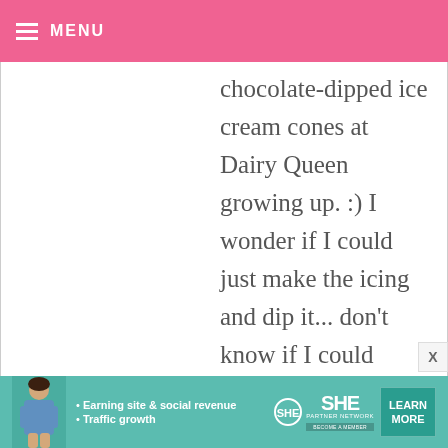MENU
chocolate-dipped ice cream cones at Dairy Queen growing up. :) I wonder if I could just make the icing and dip it... don't know if I could handle all the sweetness of icing AND cupcake!
ROYLIN — SEPTEMBER 20, 2010 @ 12:29 AM
REPLY
These look very yummy!! Idk if I could pull that off...
[Figure (infographic): SHE Partner Network advertisement banner with woman figure, bullets for Earning site & social revenue and Traffic growth, SHE logo, and Learn More button]